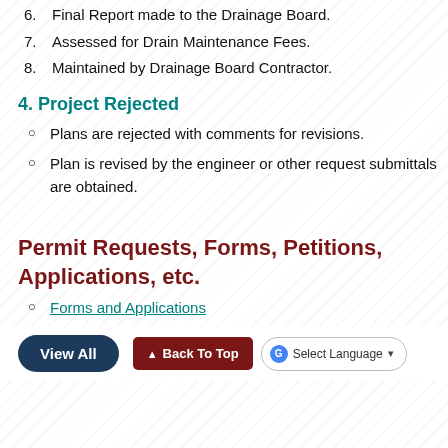6. Final Report made to the Drainage Board.
7. Assessed for Drain Maintenance Fees.
8. Maintained by Drainage Board Contractor.
4. Project Rejected
Plans are rejected with comments for revisions.
Plan is revised by the engineer or other request submittals are obtained.
Permit Requests, Forms, Petitions, Applications, etc.
Forms and Applications
Additional Documents
Bids and